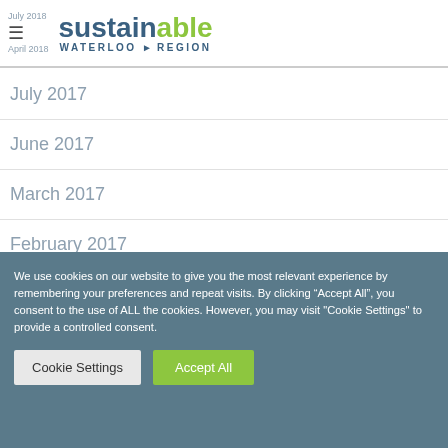sustainable WATERLOO REGION
July 2017
June 2017
March 2017
February 2017
January 2017
We use cookies on our website to give you the most relevant experience by remembering your preferences and repeat visits. By clicking “Accept All”, you consent to the use of ALL the cookies. However, you may visit "Cookie Settings" to provide a controlled consent.